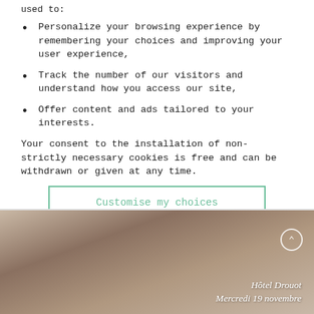used to:
Personalize your browsing experience by remembering your choices and improving your user experience,
Track the number of our visitors and understand how you access our site,
Offer content and ads tailored to your interests.
Your consent to the installation of non-strictly necessary cookies is free and can be withdrawn or given at any time.
Customise my choices
Accept all
[Figure (photo): Faded background photo of decorative or antique items, with text overlay reading 'Hôtel Drouot Mercredi 19 novembre' in italic white serif font]